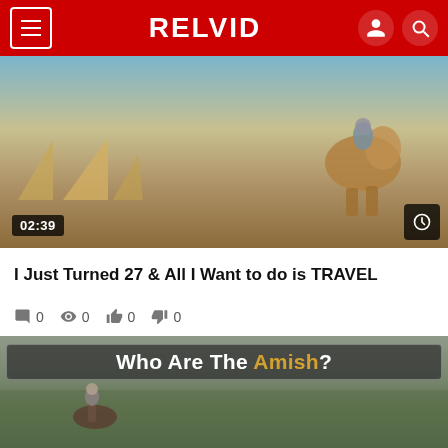RELVID
[Figure (photo): Person riding a camel near the Egyptian pyramids, desert landscape, video thumbnail with duration badge 02:39]
I Just Turned 27 & All I Want to do is TRAVEL
0  0  0  0
[Figure (photo): Video thumbnail showing people on horseback in a field with overlay text 'Who Are The Amish?']